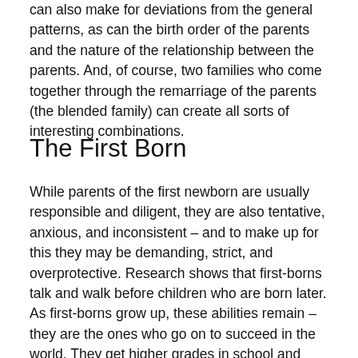can also make for deviations from the general patterns, as can the birth order of the parents and the nature of the relationship between the parents. And, of course, two families who come together through the remarriage of the parents (the blended family) can create all sorts of interesting combinations.
The First Born
While parents of the first newborn are usually responsible and diligent, they are also tentative, anxious, and inconsistent – and to make up for this they may be demanding, strict, and overprotective. Research shows that first-borns talk and walk before children who are born later. As first-borns grow up, these abilities remain – they are the ones who go on to succeed in the world. They get higher grades in school and have stronger leadership and achievement traits. They are conscientious,